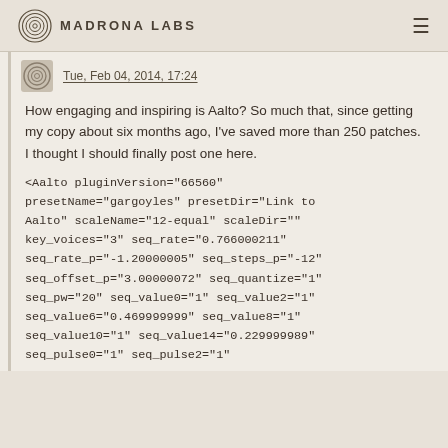Madrona Labs
Tue, Feb 04, 2014, 17:24
How engaging and inspiring is Aalto? So much that, since getting my copy about six months ago, I've saved more than 250 patches. I thought I should finally post one here.
<Aalto pluginVersion="66560" presetName="gargoyles" presetDir="Link to Aalto" scaleName="12-equal" scaleDir="" key_voices="3" seq_rate="0.766000211" seq_rate_p="-1.20000005" seq_steps_p="-12" seq_offset_p="3.00000072" seq_quantize="1" seq_pw="20" seq_value0="1" seq_value2="1" seq_value6="0.469999999" seq_value8="1" seq_value10="1" seq_value14="0.229999989" seq_pulse0="1" seq_pulse2="1"